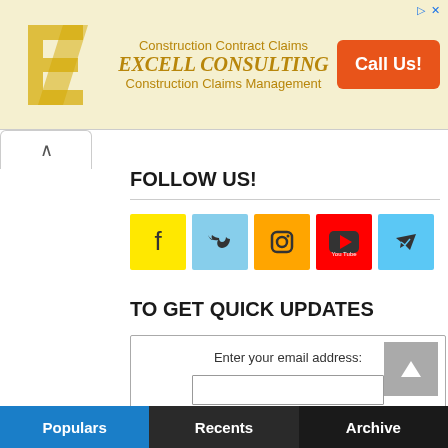[Figure (infographic): Excell Consulting advertisement banner with logo, company name, taglines 'Construction Contract Claims' and 'Construction Claims Management', and orange 'Call Us!' button]
FOLLOW US!
[Figure (infographic): Five social media icon buttons: Facebook (yellow), Twitter (light blue), Instagram (orange), YouTube (red), Telegram (blue)]
TO GET QUICK UPDATES
Enter your email address:
Subscribe
Populars
Recents
Archive